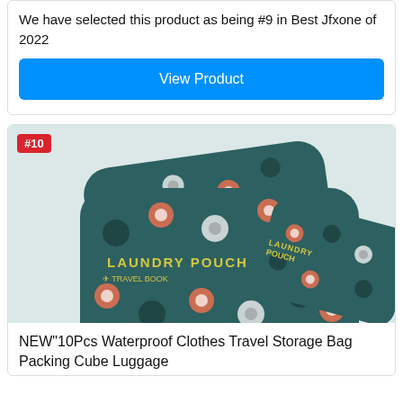We have selected this product as being #9 in Best Jfxone of 2022
View Product
[Figure (photo): Three teal/dark green floral-patterned laundry pouches labeled 'LAUNDRY POUCH' stacked together, with a #10 badge in the top-left corner.]
NEW"10Pcs Waterproof Clothes Travel Storage Bag Packing Cube Luggage